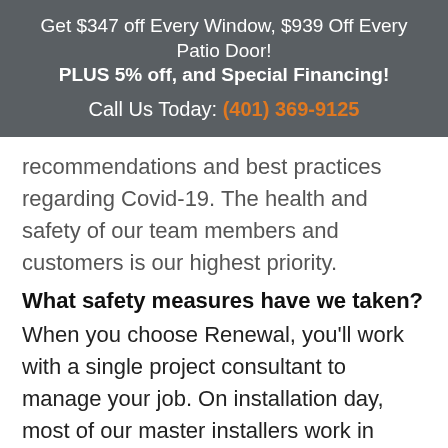Get $347 off Every Window, $939 Off Every Patio Door! PLUS 5% off, and Special Financing! Call Us Today: (401) 369-9125
recommendations and best practices regarding Covid-19. The health and safety of our team members and customers is our highest priority.
What safety measures have we taken?
When you choose Renewal, you'll work with a single project consultant to manage your job. On installation day, most of our master installers work in crews of two. Any teammate you invite into your home will follow CDC guidelines to limit the spread of the virus. We'll even check with you before our visit to make sure your family members are feeling